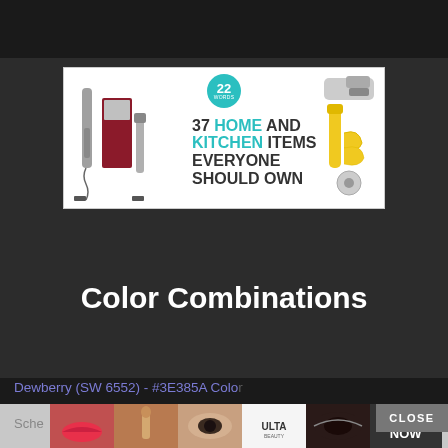[Figure (screenshot): Advertisement banner: '37 HOME AND KITCHEN ITEMS EVERYONE SHOULD OWN' with kitchen tools imagery and a teal '22 WORDS' badge. Close X button top right.]
Color Combinations
Dewberry (SW 6552) - #3E385A Color Scheme
[Figure (screenshot): Bottom advertisement strip showing cosmetics/makeup product images, ULTA beauty logo, and a SHOP NOW button, with a CLOSE button overlay.]